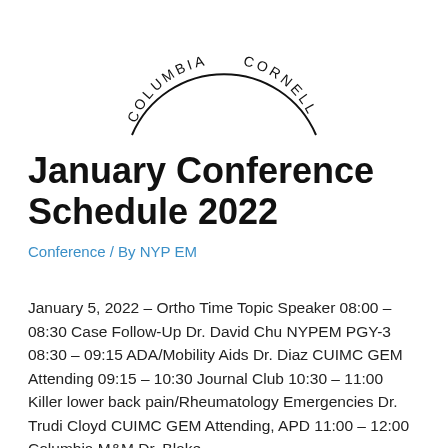[Figure (logo): Circular seal/logo with text 'COLUMBIA CORNELL' around the arc of the circle]
January Conference Schedule 2022
Conference / By NYP EM
January 5, 2022 – Ortho Time Topic Speaker 08:00 – 08:30 Case Follow-Up Dr. David Chu NYPEM PGY-3 08:30 – 09:15 ADA/Mobility Aids Dr. Diaz CUIMC GEM Attending 09:15 – 10:30 Journal Club 10:30 – 11:00 Killer lower back pain/Rheumatology Emergencies Dr. Trudi Cloyd CUIMC GEM Attending, APD 11:00 – 12:00 Columbia M&M Dr. Blake ...